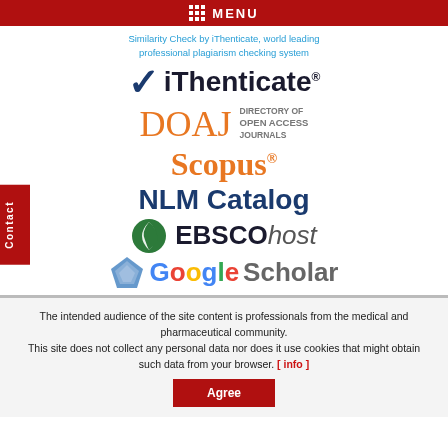MENU
Similarity Check by iThenticate, world leading professional plagiarism checking system
[Figure (logo): iThenticate logo with checkmark]
[Figure (logo): DOAJ - Directory of Open Access Journals logo]
[Figure (logo): Scopus logo]
[Figure (logo): NLM Catalog logo]
[Figure (logo): EBSCOhost logo with green circle icon]
[Figure (logo): Google Scholar logo with diamond icon]
The intended audience of the site content is professionals from the medical and pharmaceutical community. This site does not collect any personal data nor does it use cookies that might obtain such data from your browser. [ info ]
Agree